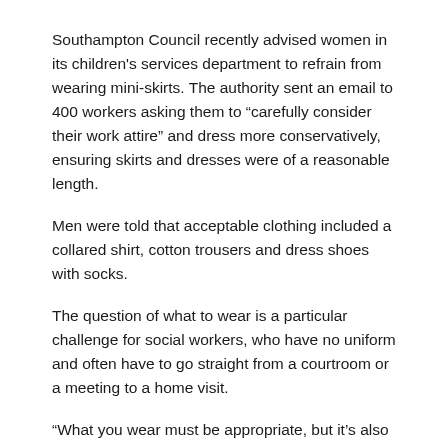Southampton Council recently advised women in its children's services department to refrain from wearing mini-skirts. The authority sent an email to 400 workers asking them to “carefully consider their work attire” and dress more conservatively, ensuring skirts and dresses were of a reasonable length.
Men were told that acceptable clothing included a collared shirt, cotton trousers and dress shoes with socks.
The question of what to wear is a particular challenge for social workers, who have no uniform and often have to go straight from a courtroom or a meeting to a home visit.
“What you wear must be appropriate, but it’s also about the image you’re portraying,” says Jo Cleary, director of adults’ services at Lambeth Council, London. Social workers must, for example, wear a suit to court. “You’re representing the authority,” she says.